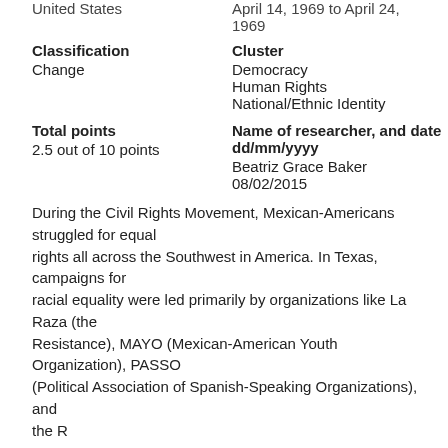United States
April 14, 1969 to April 24, 1969
Classification
Cluster
Change
Democracy
Human Rights
National/Ethnic Identity
Total points
Name of researcher, and date dd/mm/yyyy
2.5 out of 10 points
Beatriz Grace Baker
08/02/2015
During the Civil Rights Movement, Mexican-Americans struggled for equal rights all across the Southwest in America. In Texas, campaigns for racial equality were led primarily by organizations like La Raza (the Resistance), MAYO (Mexican-American Youth Organization), PASSO (Political Association of Spanish-Speaking Organizations), and the R...